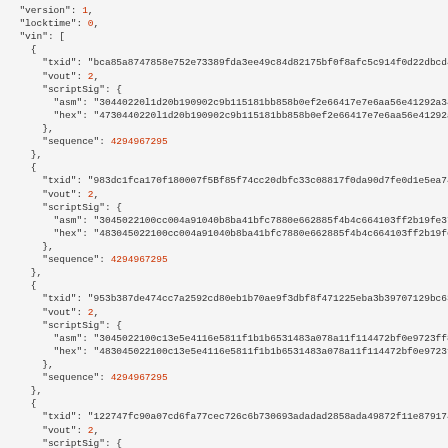JSON code block showing Bitcoin transaction data with version, locktime, vin array containing multiple transaction inputs each with txid, vout, scriptSig (asm and hex), and sequence fields